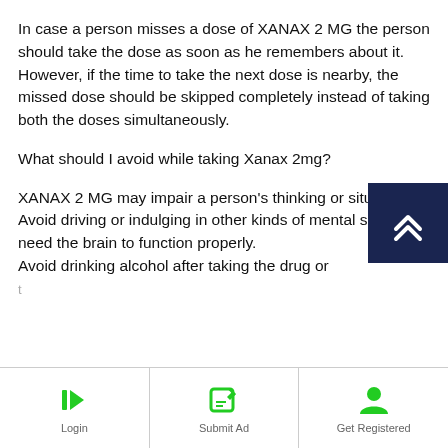In case a person misses a dose of XANAX 2 MG the person should take the dose as soon as he remembers about it. However, if the time to take the next dose is nearby, the missed dose should be skipped completely instead of taking both the doses simultaneously.
What should I avoid while taking Xanax 2mg?
XANAX 2 MG may impair a person's thinking or situations. Avoid driving or indulging in other kinds of mental skills that need the brain to function properly.
Avoid drinking alcohol after taking the drug or
[Figure (other): Dark navy blue scroll-to-top button with double chevron arrow icon, positioned at bottom right of content area]
Login | Submit Ad | Get Registered